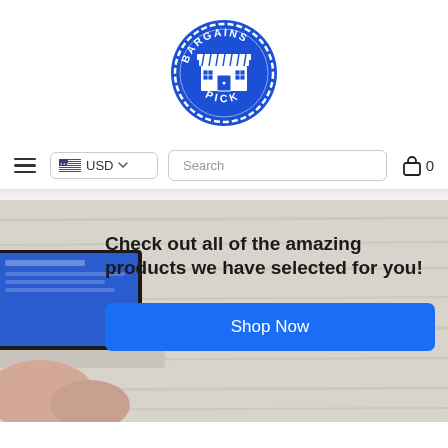[Figure (logo): Bargains Pick circular logo in blue, featuring a storefront/shop icon in the center with the text BARGAINS on top and PICK on the bottom in white lettering on a blue circular badge.]
[Figure (screenshot): Navigation bar with hamburger menu icon, USD currency selector with US flag, a search input box, and a shopping cart icon with count 0.]
[Figure (photo): Hero banner section showing a person using a laptop on a white wooden surface, with bold text overlay reading 'Check out all of the amazing products we have selected for you!' and a blue 'Shop Now' button.]
Check out all of the amazing products we have selected for you!
Shop Now